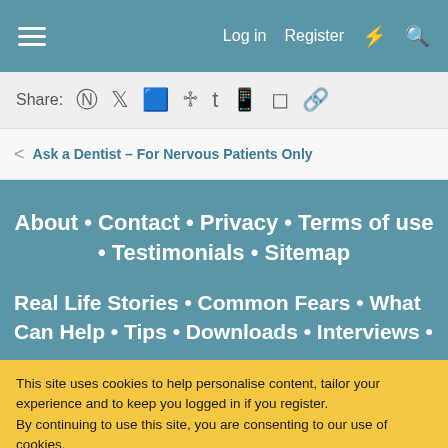Log in  Register
Share:
< Ask a Dentist – For Nervous Patients Only
About • Contact • Privacy • Terms of use • Testimonials • Sitemap
Real Life Stories • Common Fears • What Can Help • Tips • Downloads • Interviews •
This site uses cookies to help personalise content, tailor your experience and to keep you logged in if you register.
By continuing to use this site, you are consenting to our use of cookies.
✓ Accept   Learn more...